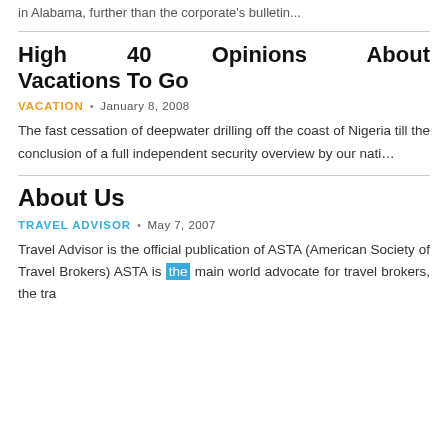in Alabama, further than the corporate's bulletin...
High 40 Opinions About Vacations To Go
VACATION • January 8, 2008
The fast cessation of deepwater drilling off the coast of Nigeria till the conclusion of a full independent security overview by our nati…
About Us
TRAVEL ADVISOR • May 7, 2007
Travel Advisor is the official publication of ASTA (American Society of Travel Brokers) ASTA is the main world advocate for travel brokers, the tra